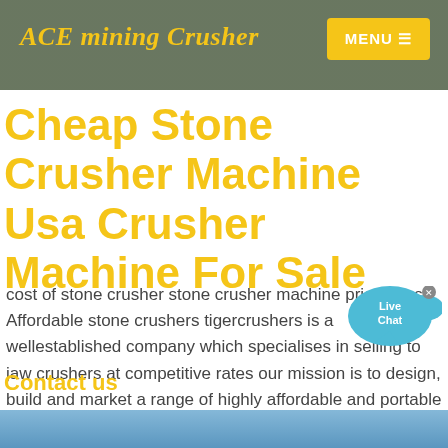ACE mining Crusher
Cheap Stone Crusher Machine Usa Crusher Machine For Sale
cost of stone crusher stone crusher machine price in usa. Affordable stone crushers tigercrushers is a wellestablished company which specialises in selling to jaw crushers at competitive rates our mission is to design, build and market a range of highly affordable and portable jaw crushers globally to the recycling, construction, demolition ...
Contact us
[Figure (other): Live Chat bubble icon with blue speech bubble shape and 'Live Chat' text]